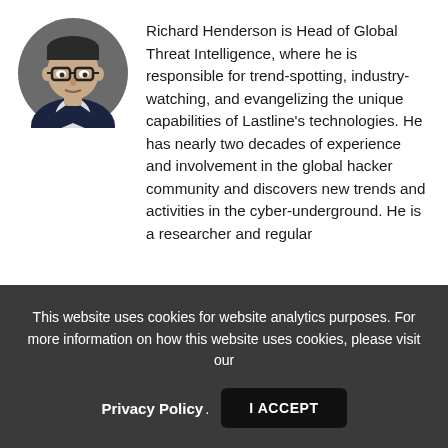[Figure (photo): Circular headshot photo of Richard Henderson, a man wearing glasses and a dark jacket over a light shirt, with a neutral expression, against a dark background.]
Richard Henderson is Head of Global Threat Intelligence, where he is responsible for trend-spotting, industry-watching, and evangelizing the unique capabilities of Lastline's technologies. He has nearly two decades of experience and involvement in the global hacker community and discovers new trends and activities in the cyber-underground. He is a researcher and regular
This website uses cookies for website analytics purposes. For more information on how this website uses cookies, please visit our Privacy Policy. I ACCEPT